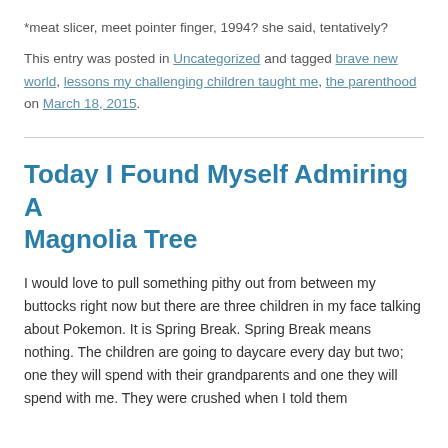*meat slicer, meet pointer finger, 1994? she said, tentatively?
This entry was posted in Uncategorized and tagged brave new world, lessons my challenging children taught me, the parenthood on March 18, 2015.
Today I Found Myself Admiring A Magnolia Tree
I would love to pull something pithy out from between my buttocks right now but there are three children in my face talking about Pokemon. It is Spring Break. Spring Break means nothing. The children are going to daycare every day but two; one they will spend with their grandparents and one they will spend with me. They were crushed when I told them